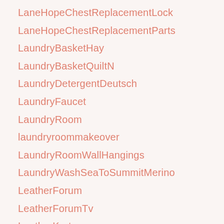LaneHopeChestReplacementLock
LaneHopeChestReplacementParts
LaundryBasketHay
LaundryBasketQuiltN
LaundryDetergentDeutsch
LaundryFaucet
LaundryRoom
laundryroommakeover
LaundryRoomWallHangings
LaundryWashSeaToSummitMerino
LeatherForum
LeatherForumTv
LeatherKarten
LewisHyde
LHYBATHLEADER